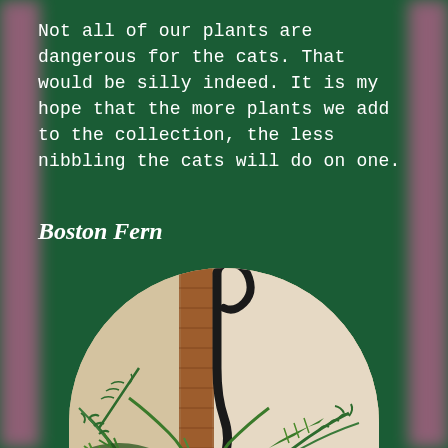Not all of our plants are dangerous for the cats. That would be silly indeed. It is my hope that the more plants we add to the collection, the less nibbling the cats will do on one.
Boston Fern
[Figure (photo): A circular arch-topped photo showing a Boston Fern plant with fern fronds in the foreground and a black metal plant stake/support curving over the plant, with a brick wall and light beige wall in the background.]